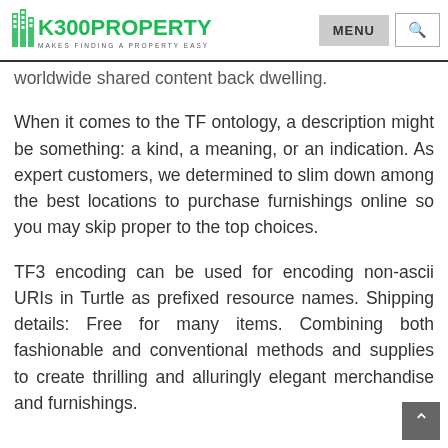K300PROPERTY — MAKES FINDING A PROPERTY EASY | MENU | Search
worldwide shared content back dwelling.
When it comes to the TF ontology, a description might be something: a kind, a meaning, or an indication. As expert customers, we determined to slim down among the best locations to purchase furnishings online so you may skip proper to the top choices.
TF3 encoding can be used for encoding non-ascii URIs in Turtle as prefixed resource names. Shipping details: Free for many items. Combining both fashionable and conventional methods and supplies to create thrilling and alluringly elegant merchandise and furnishings.